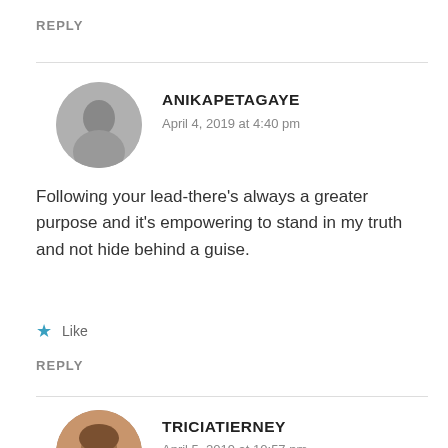REPLY
ANIKAPETAGAYE
April 4, 2019 at 4:40 pm
[Figure (photo): Circular avatar photo of a woman, black and white]
Following your lead-there’s always a greater purpose and it’s empowering to stand in my truth and not hide behind a guise.
★ Like
REPLY
TRICIATIERNEY
April 5, 2019 at 10:57 pm
[Figure (photo): Circular avatar photo of a woman with brown hair, color photo]